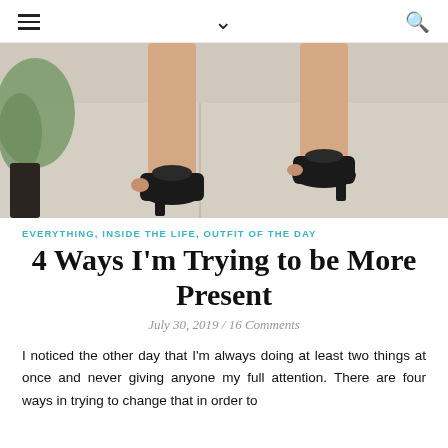≡   ∨   🔍
[Figure (photo): Cropped photo showing a person's legs and feet wearing black open-toe heeled mule sandals, standing on a concrete sidewalk with a plant visible in the background.]
EVERYTHING, INSIDE THE LIFE, OUTFIT OF THE DAY
4 Ways I'm Trying to be More Present
July 30, 2019 / 16 Comments
I noticed the other day that I'm always doing at least two things at once and never giving anyone my full attention. There are four ways in trying to change that in order to